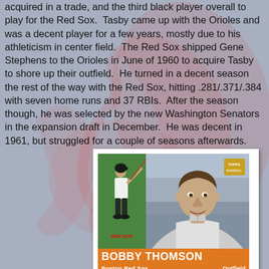acquired in a trade, and the third black player overall to play for the Red Sox. Tasby came up with the Orioles and was a decent player for a few years, mostly due to his athleticism in center field. The Red Sox shipped Gene Stephens to the Orioles in June of 1960 to acquire Tasby to shore up their outfield. He turned in a decent season the rest of the way with the Red Sox, hitting .281/.371/.384 with seven home runs and 37 RBIs. After the season though, he was selected by the new Washington Senators in the expansion draft in December. He was decent in 1961, but struggled for a couple of seasons afterwards.
[Figure (photo): Baseball card of Bobby Thomson, Boston Red Sox outfield player. Card shows a small action photo on the left with green background, and a large portrait photo on the right. Bottom has an orange name bar reading BOBBY THOMSON, BOSTON RED SOX, OUTFIELD.]